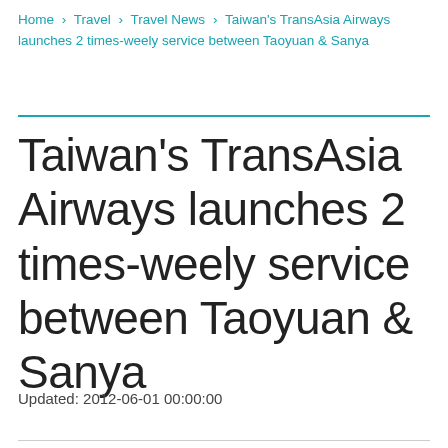Home > Travel > Travel News > Taiwan's TransAsia Airways launches 2 times-weely service between Taoyuan & Sanya
Taiwan's TransAsia Airways launches 2 times-weely service between Taoyuan & Sanya
Updated: 2012-06-01 00:00:00